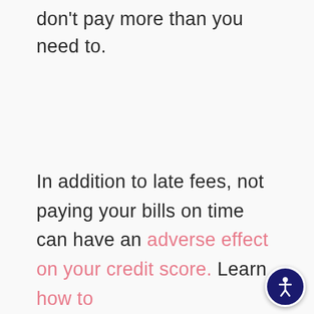don't pay more than you need to.
In addition to late fees, not paying your bills on time can have an adverse effect on your credit score. Learn how to